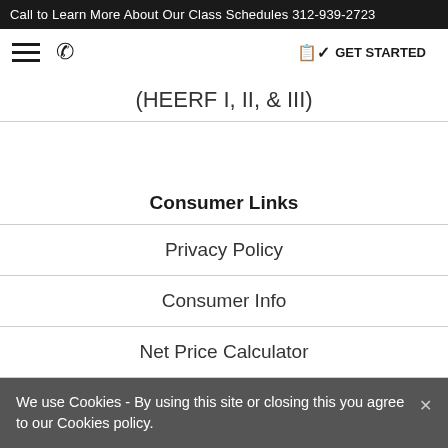Call to Learn More About Our Class Schedules 312-939-2723
(HEERF I, II, & III)
Consumer Links
Privacy Policy
Consumer Info
Net Price Calculator
Report a Complaint
Contact Us
We use Cookies - By using this site or closing this you agree to our Cookies policy.